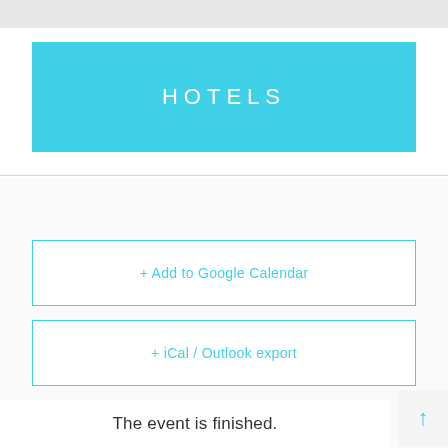HOTELS
+ Add to Google Calendar
+ iCal / Outlook export
The event is finished.